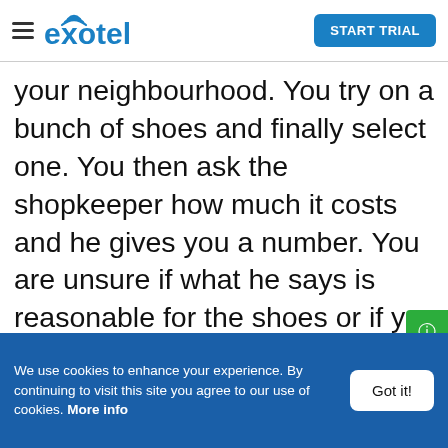Exotel - START TRIAL
your neighbourhood. You try on a bunch of shoes and finally select one. You then ask the shopkeeper how much it costs and he gives you a number. You are unsure if what he says is reasonable for the shoes or if you would be overpaying. You make some comparisons with other shops around, and you go ahead and buy the pair of shoes anyway. But there is still this nagging question in your head – "Did I overpay?".
[Figure (other): Green 'Get Help' sidebar button on right edge]
We use cookies to enhance your experience. By continuing to visit this site you agree to our use of cookies. More info